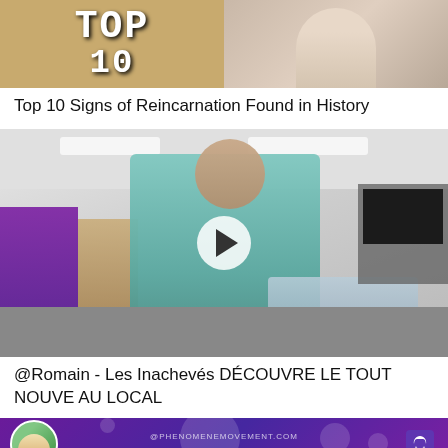[Figure (screenshot): Two video thumbnails side by side: left shows 'TOP 10' text on golden background, right shows a woman in a patterned blouse]
Top 10 Signs of Reincarnation Found in History
[Figure (screenshot): Video thumbnail with play button showing a man in a teal sweater standing in a modern office/living space with purple storage boxes on left and TV on right]
@Romain - Les Inachevés DÉCOUVRE LE TOUT NOUVE AU LOCAL
[Figure (screenshot): Partial thumbnail showing purple gradient background with a circular avatar of a blonde person on the left, website text in center, and a purple/white logo on the right]